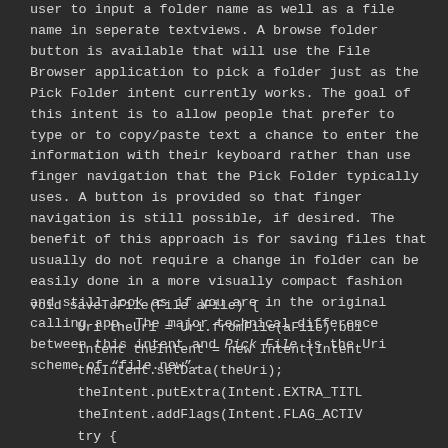user to input a folder name as well as a file name in seperate textviews.  A browse folder button is available that will use the File Browser application to pick a folder just as the Pick Folder intent currently works.  The goal of this intent is to allow people that prefer to type or to copy/paste text a chance to enter the information with their keyboard rather than use finger navigation that the Pick Folder typically uses.  A button is provided so that finger navigation is still possible, if desired.  The benefit of this approach is for saving files that usually do not require a change in folder can be easily done in a more visually compact fashion and still look as if you are in the original calling app. The major technical difference between this intent and Pick File is the Uri scheme of "file.new".
void saveToFile(File aFile) {
    Uri theUri = Uri.fromFile(aFile).bui
    Intent theIntent = new Intent(Intent
    theIntent.setData(theUri);
    theIntent.putExtra(Intent.EXTRA_TITL
    theIntent.addFlags(Intent.FLAG_ACTIV
    try {